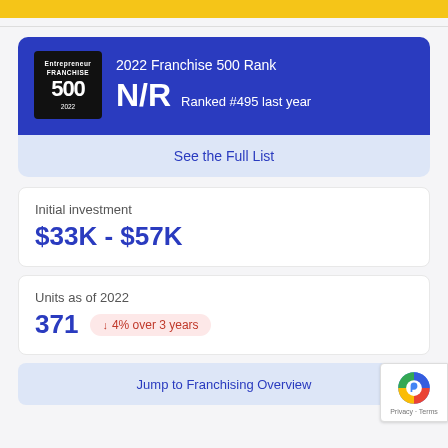[Figure (infographic): Entrepreneur Franchise 500 2022 badge showing N/R rank and Ranked #495 last year]
See the Full List
Initial investment
$33K - $57K
Units as of 2022
371  ↓ 4% over 3 years
Jump to Franchising Overview